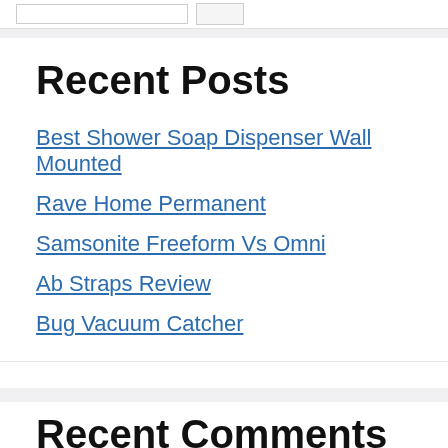Recent Posts
Best Shower Soap Dispenser Wall Mounted
Rave Home Permanent
Samsonite Freeform Vs Omni
Ab Straps Review
Bug Vacuum Catcher
Recent Comments